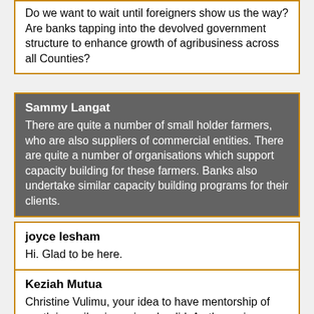Do we want to wait until foreigners show us the way?Are banks tapping into the devolved government structure to enhance growth of agribusiness across all Counties?
Sammy Langat
There are quite a number of small holder farmers, who are also suppliers of commercial entities. There are quite a number of organisations which support capacity building for these farmers. Banks also undertake similar capacity building programs for their clients.
joyce lesham
Hi. Glad to be here.
Keziah Mutua
Christine Vulimu, your idea to have mentorship of youth in agribusiness is splendid. As the agric experts teach us the ropes on agric, then networking sessions with